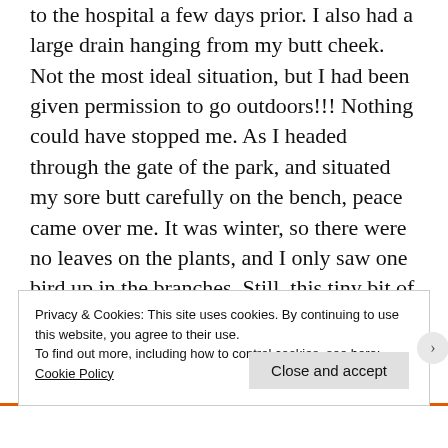to the hospital a few days prior. I also had a large drain hanging from my butt cheek. Not the most ideal situation, but I had been given permission to go outdoors!!! Nothing could have stopped me. As I headed through the gate of the park, and situated my sore butt carefully on the bench, peace came over me. It was winter, so there were no leaves on the plants, and I only saw one bird up in the branches. Still, this tiny bit of nature provided just the soothing effect I needed. For the first time since checking in, I found my mind wandering away from the hospital to thoughts of future adventures. I wrote in my journal for a while, soaking in
Privacy & Cookies: This site uses cookies. By continuing to use this website, you agree to their use.
To find out more, including how to control cookies, see here:
Cookie Policy
Close and accept